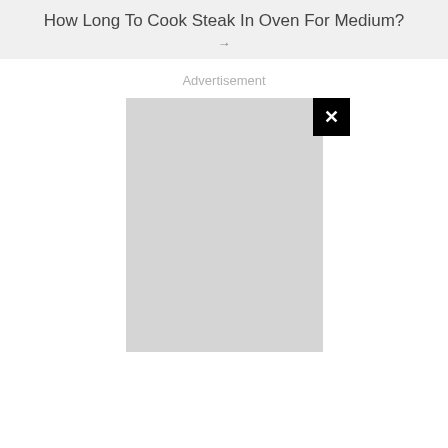How Long To Cook Steak In Oven For Medium?
→
Advertisement
[Figure (other): Advertisement placeholder — large light grey rectangle with a black close (X) button in the top-right corner]